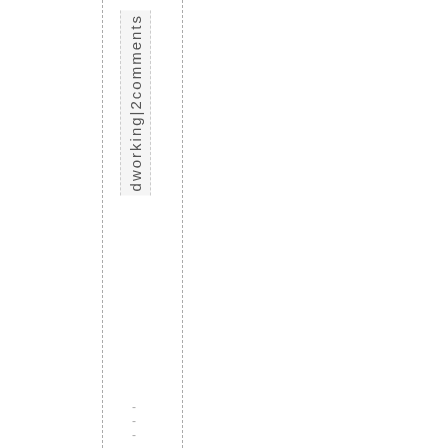dworking|2comments
- - -
Older Entries »